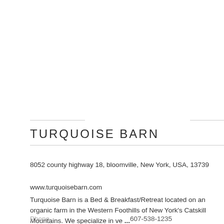TURQUOISE BARN
8052 county highway 18, bloomville, New York, USA, 13739
www.turquoisebarn.com
Turquoise Barn is a Bed & Breakfast/Retreat located on an organic farm in the Western Foothills of New York's Catskill Mountains. We specialize in ve ...
Phone	607-538-1235